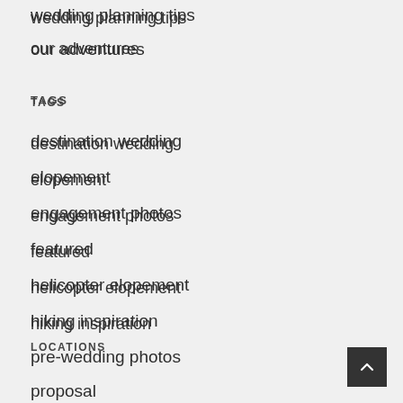wedding planning tips
our adventures
TAGS
destination wedding
elopement
engagement photos
featured
helicopter elopement
hiking inspiration
pre-wedding photos
proposal
travel
LOCATIONS
Acadia Beach Vancouver